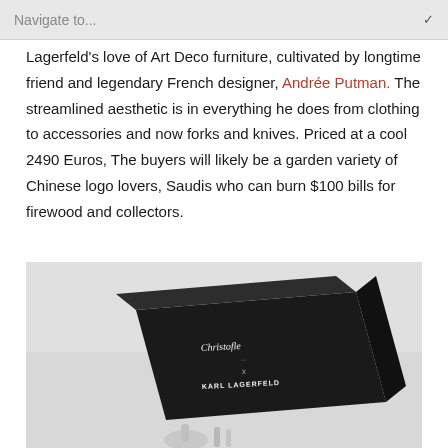Navigate to...
Lagerfeld's love of Art Deco furniture, cultivated by longtime friend and legendary French designer, Andrée Putman. The streamlined aesthetic is in everything he does from clothing to accessories and now forks and knives. Priced at a cool 2490 Euros, The buyers will likely be a garden variety of Chinese logo lovers, Saudis who can burn $100 bills for firewood and collectors.
[Figure (photo): A black rectangular box branded with 'Christofle x KARL LAGERFELD' text on a light grey background, with silver cutlery visible at the bottom.]